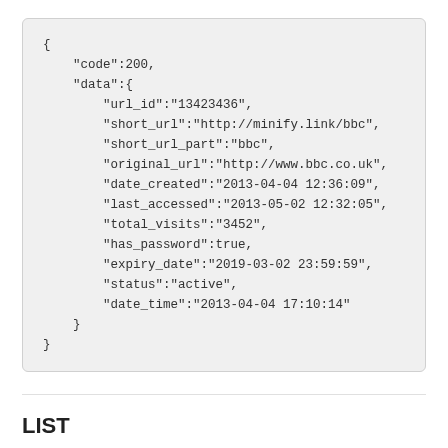{
    "code":200,
    "data":{
        "url_id":"13423436",
        "short_url":"http://minify.link/bbc",
        "short_url_part":"bbc",
        "original_url":"http://www.bbc.co.uk",
        "date_created":"2013-04-04 12:36:09",
        "last_accessed":"2013-05-02 12:32:05",
        "total_visits":"3452",
        "has_password":true,
        "expiry_date":"2019-03-02 23:59:59",
        "status":"active",
        "date_time":"2013-04-04 17:10:14"
    }
}
LIST
List all active urls within your account.